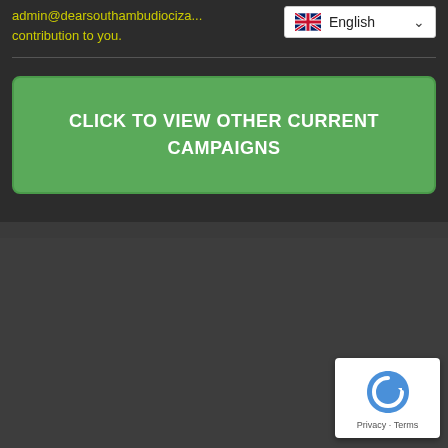admin@dearsouthambudiociza... contribution to you.
[Figure (screenshot): Language selector dropdown showing English with UK flag]
CLICK TO VIEW OTHER CURRENT CAMPAIGNS
[Figure (logo): reCAPTCHA badge with Privacy and Terms links]